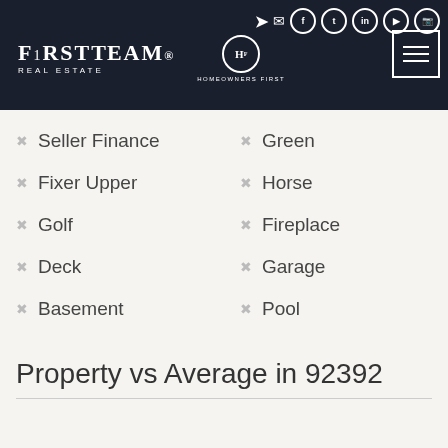FirstTeam Real Estate — Homeowners First
Seller Finance
Green
Fixer Upper
Horse
Golf
Fireplace
Deck
Garage
Basement
Pool
Property vs Average in 92392